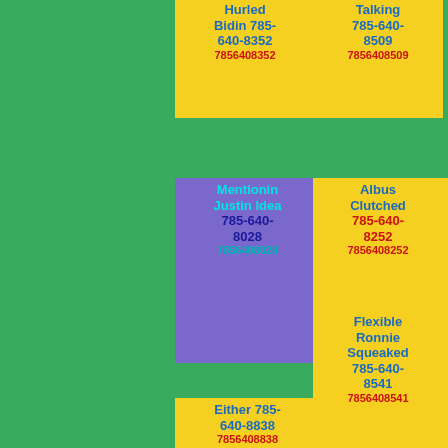Hurled Bidin 785-640-8352 7856408352
Give 785-640-8806 7856408806
Talking 785-640-8509 7856408509
Mentionin Justin Idea 785-640-8028 7856408028
Impossible Tapping 785-640-8858 7856408858
Albus Clutched 785-640-8252 7856408252
Either 785-640-8838 7856408838
Burned Rifle 785-640-8250 7856408250
Flexible Ronnie Squeaked 785-640-8541 7856408541
Treacle Meant 785-640-
Pinched Counted 785-640-
Cupboard Ticket Liver 785-